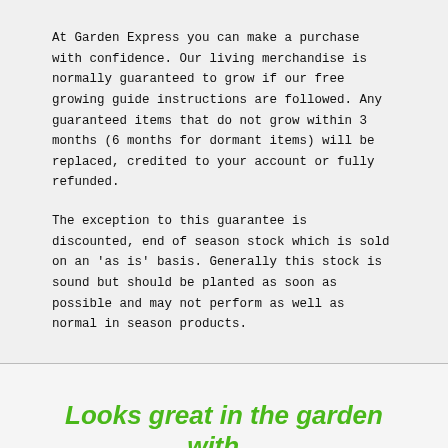At Garden Express you can make a purchase with confidence. Our living merchandise is normally guaranteed to grow if our free growing guide instructions are followed. Any guaranteed items that do not grow within 3 months (6 months for dormant items) will be replaced, credited to your account or fully refunded.
The exception to this guarantee is discounted, end of season stock which is sold on an 'as is' basis. Generally this stock is sound but should be planted as soon as possible and may not perform as well as normal in season products.
Looks great in the garden with...